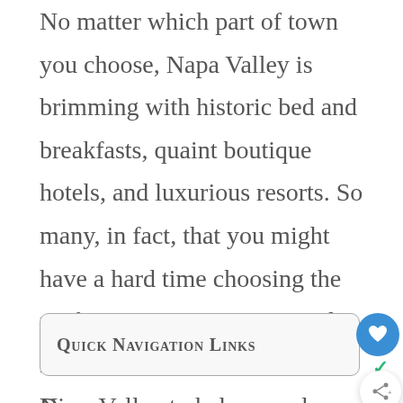No matter which part of town you choose, Napa Valley is brimming with historic bed and breakfasts, quaint boutique hotels, and luxurious resorts. So many, in fact, that you might have a hard time choosing the perfect one. So we've created a list of the 12 best hotels in Napa Valley to help you plan your perfect getaway!
Quick Navigation Links
Di...